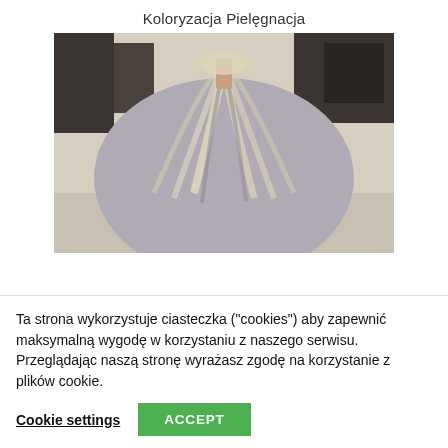Koloryzacja Pielęgnacja
[Figure (photo): Back view of a woman's head with highlighted blonde and silver/lavender hair in a salon setting]
Ta strona wykorzystuje ciasteczka ("cookies") aby zapewnić maksymalną wygodę w korzystaniu z naszego serwisu. Przeglądając naszą stronę wyrażasz zgodę na korzystanie z plików cookie.
Cookie settings  ACCEPT